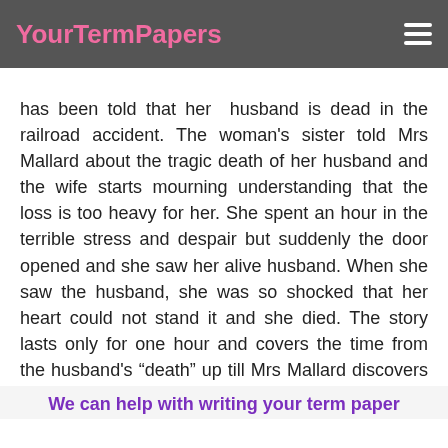YourTermPapers
has been told that her husband is dead in the railroad accident. The woman's sister told Mrs Mallard about the tragic death of her husband and the wife starts mourning understanding that the loss is too heavy for her. She spent an hour in the terrible stress and despair but suddenly the door opened and she saw her alive husband. When she saw the husband, she was so shocked that her heart could not stand it and she died. The story lasts only for one hour and covers the time from the husband's “death” up till Mrs Mallard discovers that he is alive.
We can help with writing your term paper